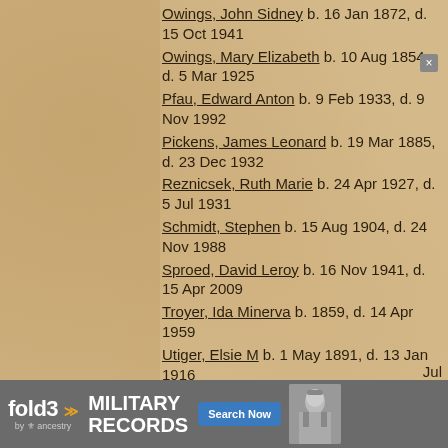Owings, John Sidney  b. 16 Jan 1872, d. 15 Oct 1941
Owings, Mary Elizabeth  b. 10 Aug 1854, d. 5 Mar 1925
Pfau, Edward Anton  b. 9 Feb 1933, d. 9 Nov 1992
Pickens, James Leonard  b. 19 Mar 1885, d. 23 Dec 1932
Reznicsek, Ruth Marie  b. 24 Apr 1927, d. 5 Jul 1931
Schmidt, Stephen  b. 15 Aug 1904, d. 24 Nov 1988
Sproed, David Leroy  b. 16 Nov 1941, d. 15 Apr 2009
Troyer, Ida Minerva  b. 1859, d. 14 Apr 1959
Utiger, Elsie M  b. 1 May 1891, d. 13 Jan 1916
Voget, Garfield Gustav  b. 24 Sep 1881, d. 3 Jul 1971
Voget, Helen A.  b. 25 May 1911, d. 14 Jul 1986
[Figure (infographic): fold3 by Ancestry advertisement banner for Military Records with Search Now button and soldier photograph]